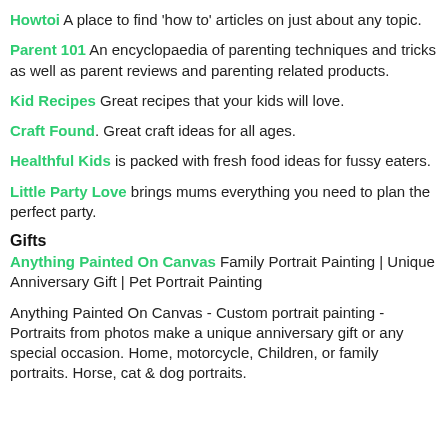Howtoi A place to find 'how to' articles on just about any topic.
Parent 101 An encyclopaedia of parenting techniques and tricks as well as parent reviews and parenting related products.
Kid Recipes Great recipes that your kids will love.
Craft Found. Great craft ideas for all ages.
Healthful Kids is packed with fresh food ideas for fussy eaters.
Little Party Love brings mums everything you need to plan the perfect party.
Gifts
Anything Painted On Canvas Family Portrait Painting | Unique Anniversary Gift | Pet Portrait Painting
Anything Painted On Canvas - Custom portrait painting - Portraits from photos make a unique anniversary gift or any special occasion. Home, motorcycle, Children, or family portraits. Horse, cat & dog portraits.